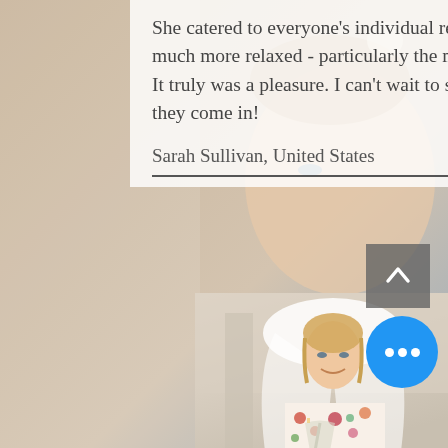[Figure (photo): Background photo of a bride getting her hair done, wearing makeup, with rolled hair and a floral background]
She catered to everyone's individual requests and made everyone feel much more relaxed - particularly the moms. Thank you so much, Sarah! It truly was a pleasure. I can't wait to share the professional photos when they come in!
Sarah Sullivan, United States
[Figure (photo): A smiling bride wearing a white veil and floral robe, holding a champagne glass]